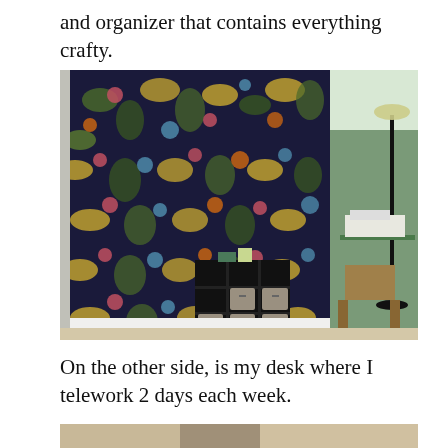and organizer that contains everything crafty.
[Figure (photo): A craft room with a dramatic dark floral wallpaper covering the back wall, a black cubby shelf unit with storage baskets in the center, a sewing machine on a desk to the right, a floor lamp, and a wooden chair. The room has green painted side walls and beige carpet flooring.]
On the other side, is my desk where I telework 2 days each week.
[Figure (photo): Partial bottom photo of the craft room showing the desk area.]